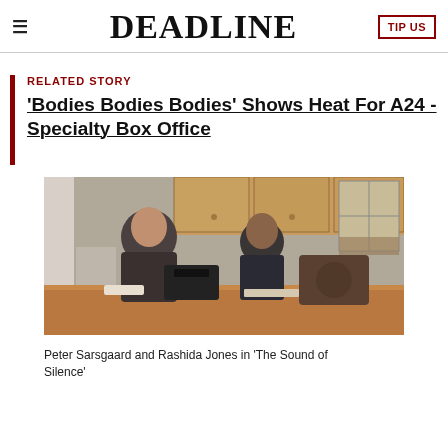DEADLINE  TIP US
RELATED STORY
'Bodies Bodies Bodies' Shows Heat For A24 - Specialty Box Office
[Figure (photo): Peter Sarsgaard and Rashida Jones seated at a kitchen counter with electronic equipment, from the movie 'The Sound of Silence']
Peter Sarsgaard and Rashida Jones in 'The Sound of Silence'